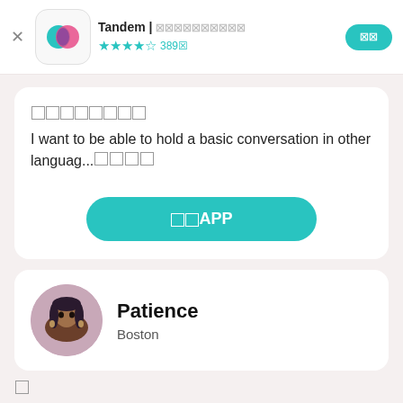Tandem | 🀆🀆🀆🀆🀆🀆🀆🀆🀆🀆 ★★★★½ 389🀆
🀆🀆🀆🀆🀆🀆🀆🀆
I want to be able to hold a basic conversation in other languag...🀆🀆🀆🀆
🀆🀆APP
Patience
Boston